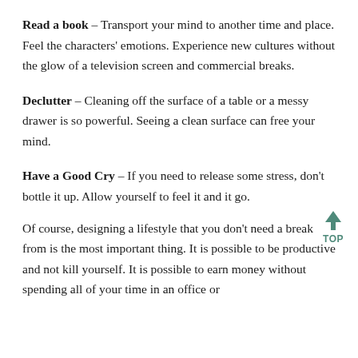Read a book – Transport your mind to another time and place. Feel the characters' emotions. Experience new cultures without the glow of a television screen and commercial breaks.
Declutter – Cleaning off the surface of a table or a messy drawer is so powerful. Seeing a clean surface can free your mind.
Have a Good Cry – If you need to release some stress, don't bottle it up. Allow yourself to feel it and it go.
Of course, designing a lifestyle that you don't need a break from is the most important thing. It is possible to be productive and not kill yourself. It is possible to earn money without spending all of your time in an office or